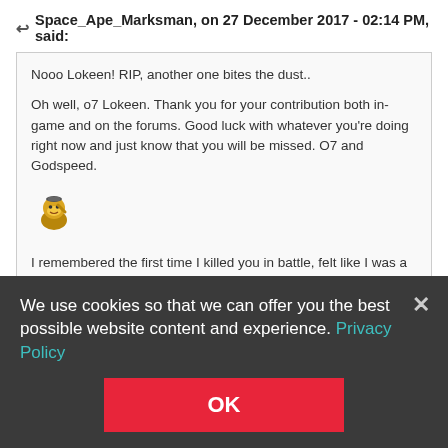Space_Ape_Marksman, on 27 December 2017 - 02:14 PM, said:
Nooo Lokeen! RIP, another one bites the dust..

Oh well, o7 Lokeen. Thank you for your contribution both in-game and on the forums. Good luck with whatever you're doing right now and just know that you will be missed. O7 and Godspeed.

[emoji: saluting monkey]

I remembered the first time I killed you in battle, felt like I was a super uni..

[emoji: monkey with thumbs up]
lol awesome bro and thank you.
We use cookies so that we can offer you the best possible website content and experience. Privacy Policy
OK